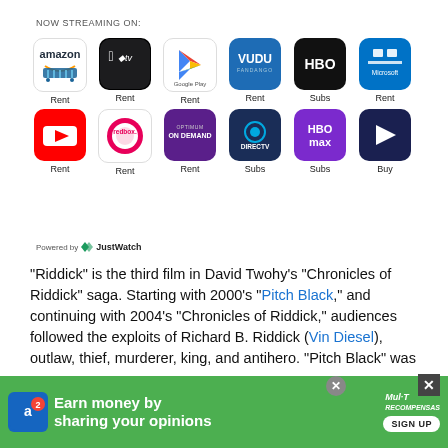NOW STREAMING ON:
[Figure (infographic): Streaming service icons in two rows: Amazon (Rent), Apple TV (Rent), Google Play (Rent), Vudu (Rent), HBO (Subs), Microsoft (Rent) in first row; YouTube (Rent), Redbox (Rent), AMC On Demand (Rent), DirecTV (Subs), HBO Max (Subs), Play button icon (Buy) in second row.]
Powered by JustWatch
"Riddick" is the third film in David Twohy's "Chronicles of Riddick" saga. Starting with 2000's "Pitch Black," and continuing with 2004's "Chronicles of Riddick," audiences followed the exploits of Richard B. Riddick (Vin Diesel), outlaw, thief, murderer, king, and antihero. "Pitch Black" was an
[Figure (infographic): Advertisement banner: Earn money by sharing your opinions. Sign Up button. Mul-T Recompensas logo.]